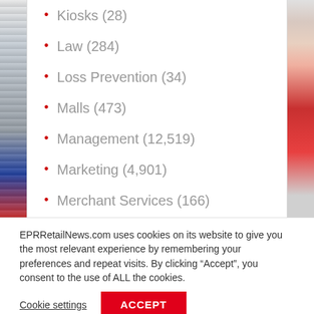Kiosks (28)
Law (284)
Loss Prevention (34)
Malls (473)
Management (12,519)
Marketing (4,901)
Merchant Services (166)
Mobile (272)
EPRRetailNews.com uses cookies on its website to give you the most relevant experience by remembering your preferences and repeat visits. By clicking “Accept”, you consent to the use of ALL the cookies.
Cookie settings
ACCEPT